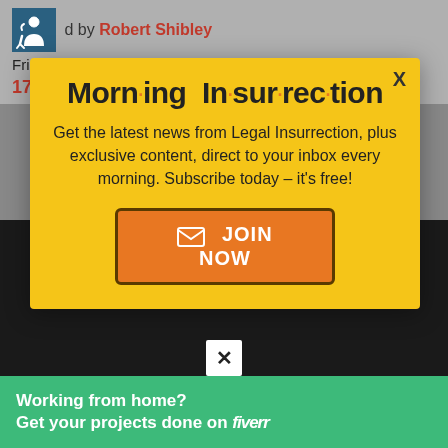d by Robert Shibley
Friday, October 17, 2014 at 07:00pm
17 Comments
[Figure (screenshot): Morning Insurrection newsletter popup overlay on a webpage. Yellow popup with bold title 'Morn·ing In·sur·rec·tion', body text about subscribing, and an orange JOIN NOW button. Background shows dark image with a Fiverr ad banner at the bottom.]
Morn·ing In·sur·rec·tion
Get the latest news from Legal Insurrection, plus exclusive content, direct to your inbox every morning. Subscribe today – it's free!
JOIN NOW
Working from home?
Get your projects done on fiverr